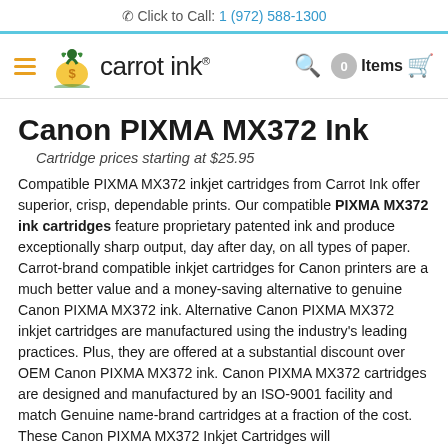Click to Call: 1 (972) 588-1300
[Figure (logo): Carrot Ink logo with hamburger menu, search icon, cart with 0 items]
Canon PIXMA MX372 Ink
Cartridge prices starting at $25.95
Compatible PIXMA MX372 inkjet cartridges from Carrot Ink offer superior, crisp, dependable prints. Our compatible PIXMA MX372 ink cartridges feature proprietary patented ink and produce exceptionally sharp output, day after day, on all types of paper. Carrot-brand compatible inkjet cartridges for Canon printers are a much better value and a money-saving alternative to genuine Canon PIXMA MX372 ink. Alternative Canon PIXMA MX372 inkjet cartridges are manufactured using the industry's leading practices. Plus, they are offered at a substantial discount over OEM Canon PIXMA MX372 ink. Canon PIXMA MX372 cartridges are designed and manufactured by an ISO-9001 facility and match Genuine name-brand cartridges at a fraction of the cost. These Canon PIXMA MX372 Inkjet Cartridges will